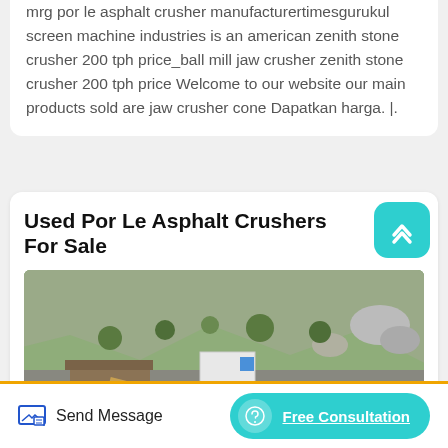mrg por le asphalt crusher manufacturertimesgurukul screen machine industries is an american zenith stone crusher 200 tph price_ball mill jaw crusher zenith stone crusher 200 tph price Welcome to our website our main products sold are jaw crusher cone Dapatkan harga. |.
Used Por Le Asphalt Crushers For Sale
[Figure (photo): Outdoor quarry/mining site with rocky hillside, green shrubs, industrial buildings and blue equipment in the foreground]
Send Message
Free Consultation